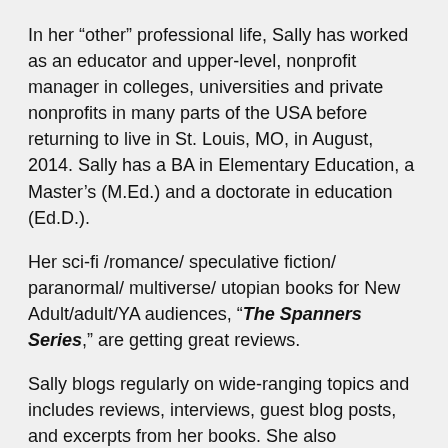In her “other” professional life, Sally has worked as an educator and upper-level, nonprofit manager in colleges, universities and private nonprofits in many parts of the USA before returning to live in St. Louis, MO, in August, 2014. Sally has a BA in Elementary Education, a Master’s (M.Ed.) and a doctorate in education (Ed.D.).
Her sci-fi /romance/ speculative fiction/ paranormal/ multiverse/ utopian books for New Adult/adult/YA audiences, “The Spanners Series,” are getting great reviews.
Sally blogs regularly on wide-ranging topics and includes reviews, interviews, guest blog posts, and excerpts from her books. She also meditates, writes, swims, reads and hosts her LIVE video talk show, *CHANGES*, conversations between authors, from St. Louis, Missouri, USA.
You can find more about her at the following links: